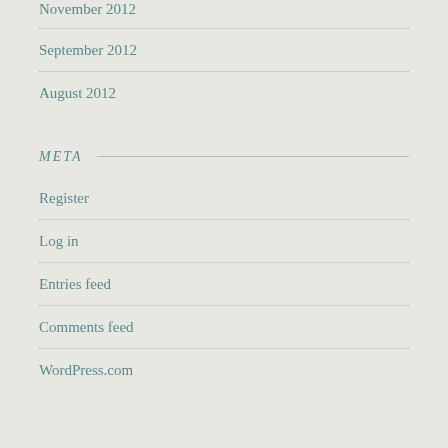November 2012
September 2012
August 2012
META
Register
Log in
Entries feed
Comments feed
WordPress.com